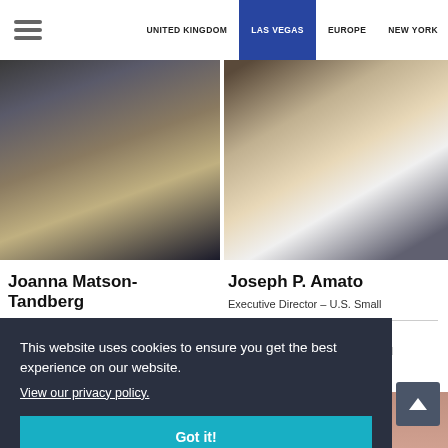UNITED KINGDOM  LAS VEGAS  EUROPE  NEW YORK
[Figure (photo): Cropped photo of a woman with blonde hair against a dark background]
[Figure (photo): Cropped photo of a smiling man in a white shirt]
Joanna Matson-Tandberg
Joseph P. Amato
Executive Director – U.S. Small
This website uses cookies to ensure you get the best experience on our website.
View our privacy policy.
Got it!
[Figure (photo): Cropped photo at bottom left]
[Figure (photo): Cropped photo at bottom right showing partial face]